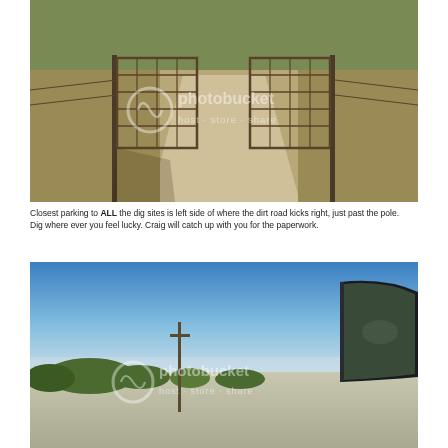[Figure (photo): Outdoor scene showing a metal farm gate open on a dirt road, with dry grassy vegetation on both sides. The road continues past the gate. Photobucket watermark visible.]
Closest parking to ALL the dig sites is left side of where the dirt road kicks right, just past the pole.
Dig where ever you feel lucky. Craig will catch up with you for the paperwork.
[Figure (photo): View from inside a vehicle showing a wide open landscape with blue sky, a utility pole, trees on the horizon, and the vehicle's rearview mirror visible. Photobucket watermark visible.]